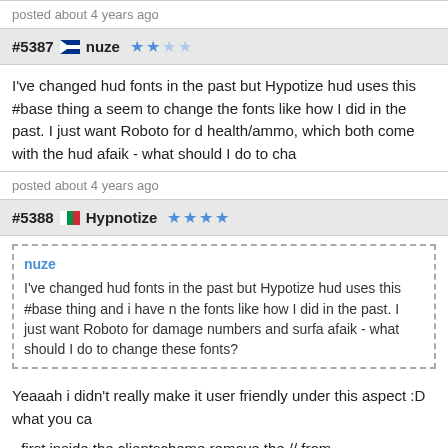posted about 4 years ago
#5387  nuze  ★★☆☆
I've changed hud fonts in the past but Hypotize hud uses this #base thing a seem to change the fonts like how I did in the past. I just want Roboto for d health/ammo, which both come with the hud afaik - what should I do to cha
posted about 4 years ago
#5388  Hypnotize  ★★★★
nuze
I've changed hud fonts in the past but Hypotize hud uses this #base thing and i have n the fonts like how I did in the past. I just want Roboto for damage numbers and surfa afaik - what should I do to change these fonts?
Yeaaah i didn't really make it user friendly under this aspect :D what you ca
- first inside the clientscheme remove the // from Fonts_Game_Surface (an
- then open resource/scheme/Fonts_Game_Surface and look for GameFo "surface-medium" you will change it to "Roboto Bold"
- last under the CustomFontFiles at the end of the same file you add the pa